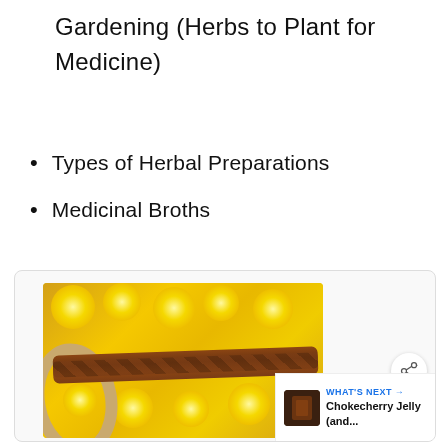Gardening (Herbs to Plant for Medicine)
Types of Herbal Preparations
Medicinal Broths
[Figure (photo): A wicker basket filled with bright yellow dandelion flowers, with a braided leather strap across the basket handle, viewed from above. A share icon button and a 'What's Next' panel showing 'Chokecherry Jelly (and...' are overlaid on the image.]